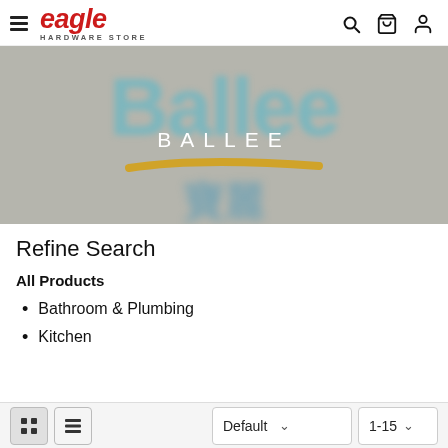eagle HARDWARE STORE — navigation header with hamburger menu, search icon, cart icon, user icon
[Figure (logo): Ballee brand banner — large teal blurred Ballee text, white BALLEE text in center, yellow swoosh, blurred Chinese characters below, grey background]
Refine Search
All Products
Bathroom & Plumbing
Kitchen
Grid view | List view | Default (sort dropdown) | 1-15 (per page dropdown)